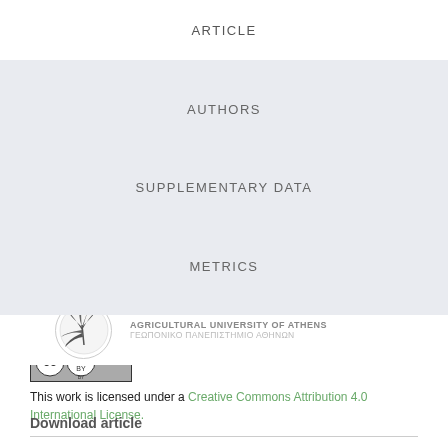ARTICLE
AUTHORS
SUPPLEMENTARY DATA
METRICS
[Figure (logo): Agricultural University of Athens logo with Greek text ΓΕΩΠΟΝΙΚΟ ΠΑΝΕΠΙΣΤΗΜΙΟ ΑΘΗΝΩΝ]
Article license
[Figure (logo): Creative Commons Attribution (CC BY) license badge]
This work is licensed under a Creative Commons Attribution 4.0 International License.
Download article